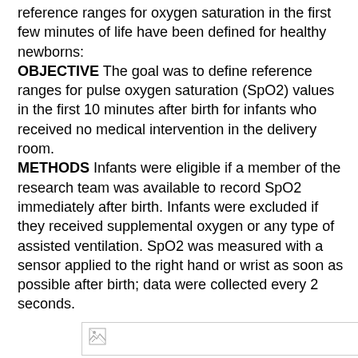reference ranges for oxygen saturation in the first few minutes of life have been defined for healthy newborns:
OBJECTIVE The goal was to define reference ranges for pulse oxygen saturation (SpO2) values in the first 10 minutes after birth for infants who received no medical intervention in the delivery room.
METHODS Infants were eligible if a member of the research team was available to record SpO2 immediately after birth. Infants were excluded if they received supplemental oxygen or any type of assisted ventilation. SpO2 was measured with a sensor applied to the right hand or wrist as soon as possible after birth; data were collected every 2 seconds.
[Figure (other): Broken image placeholder — a rectangular box with a small broken-image icon in the top-left corner]